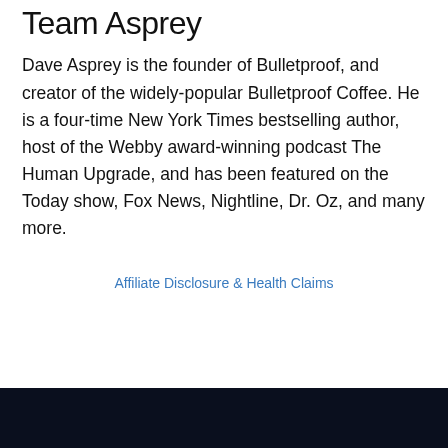Team Asprey
Dave Asprey is the founder of Bulletproof, and creator of the widely-popular Bulletproof Coffee. He is a four-time New York Times bestselling author, host of the Webby award-winning podcast The Human Upgrade, and has been featured on the Today show, Fox News, Nightline, Dr. Oz, and many more.
Affiliate Disclosure & Health Claims